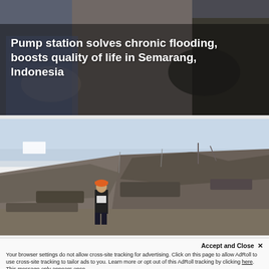[Figure (photo): Background photo showing people seated, with a title overlay reading 'Pump station solves chronic flooding, boosts quality of life in Semarang, Indonesia' in white bold text on a dark/muted photographic background.]
Pump station solves chronic flooding, boosts quality of life in Semarang, Indonesia
[Figure (photo): Photo of a construction/excavation site with large mounds of dark earth and debris. A person wearing an orange hard hat and dark jacket stands in the foreground walking across the site under a pale blue sky.]
Accept and Close ✕
Your browser settings do not allow cross-site tracking for advertising. Click on this page to allow AdRoll to use cross-site tracking to tailor ads to you. Learn more or opt out of this AdRoll tracking by clicking here. This message only appears once.